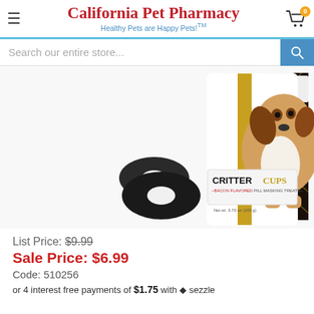California Pet Pharmacy — Healthy Pets are Happy Pets!™
[Figure (screenshot): Search bar with text 'Search our entire store...' and blue search button with magnifier icon]
[Figure (photo): Product photo of VetOne Critter Cups Bacon Flavored Pill Masking Treats for Small & Medium Dogs, showing two dark donut-shaped treats and the product packaging bag with a beagle dog image. Net weight 3.70 oz (105g).]
List Price: $9.99
Sale Price: $6.99
Code: 510256
or 4 interest free payments of $1.75 with sezzle